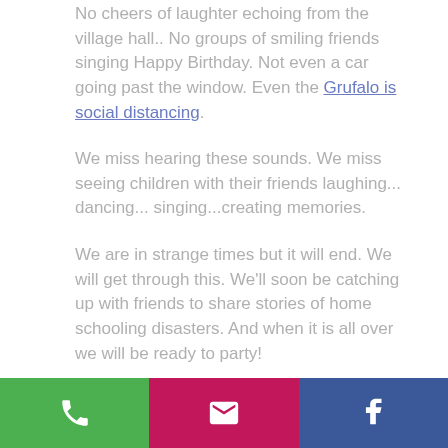No cheers of laughter echoing from the village hall.. No groups of smiling friends singing Happy Birthday. Not even a car going past the window. Even the Grufalo is social distancing.
We miss hearing these sounds. We miss seeing children with their friends laughing... dancing... singing...creating memories.
We are in strange times but it will end. We will get through this. We'll soon be catching up with friends to share stories of home schooling disasters. And when it is all over we will be ready to party!
[phone icon] [email icon] [facebook icon]